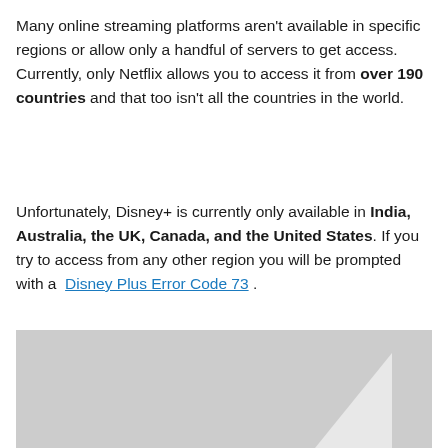Many online streaming platforms aren't available in specific regions or allow only a handful of servers to get access. Currently, only Netflix allows you to access it from over 190 countries and that too isn't all the countries in the world.
Unfortunately, Disney+ is currently only available in India, Australia, the UK, Canada, and the United States. If you try to access from any other region you will be prompted with a Disney Plus Error Code 73.
[Figure (screenshot): Screenshot or image partially visible, showing a grey background with a white diagonal shape at the bottom corner, likely a Disney+ error screen.]